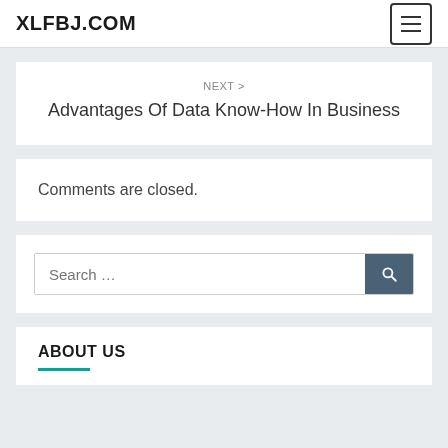XLFBJ.COM
NEXT >
Advantages Of Data Know-How In Business
Comments are closed.
Search …
ABOUT US